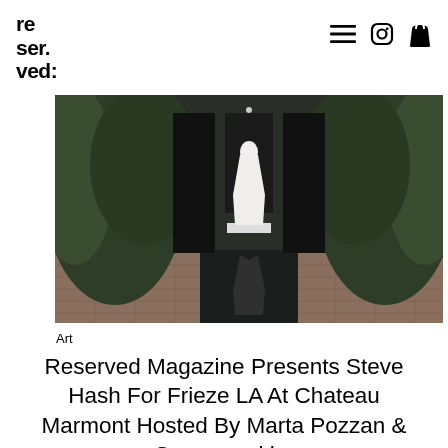re ser ved:
[Figure (photo): Nighttime outdoor garden installation at Chateau Marmont: a white-draped figure stands on a platform reflected in a long narrow water channel, surrounded by tropical foliage and black panels.]
Art
Reserved Magazine Presents Steve Hash For Frieze LA At Chateau Marmont Hosted By Marta Pozzan & Sponsored by